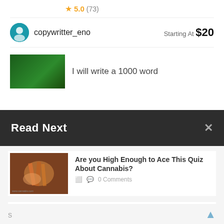[Figure (screenshot): Partial view of a freelancer listing thumbnail with green background and orange element]
★ 5.0 (73)
copywritter_eno   Starting At  $20
[Figure (screenshot): Partial view of a gig thumbnail with green cannabis-themed background and white text]
I will write a 1000 word
Read Next
[Figure (photo): Close-up photo of hands holding what appears to be cannabis-related material with brown/orange tones]
Are you High Enough to Ace This Quiz About Cannabis?
0 Comments
[Figure (photo): Photo of cannabis buds in small metal/aluminum cups on a surface]
Cotati Marijuana Dispensary Packages Cannabis in Cans
0 Comments